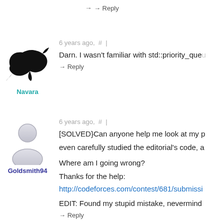→ Reply
6 years ago,  #  |
[Figure (illustration): Black silhouette of a dolphin facing right]
Navara
Darn. I wasn't familiar with std::priority_que...
→ Reply
6 years ago,  #  |
[Figure (illustration): Generic gray user avatar icon]
Goldsmith94
[SOLVED}Can anyone help me look at my p... even carefully studied the editorial's code, a...
Where am I going wrong?
Thanks for the help:
http://codeforces.com/contest/681/submissi...
EDIT: Found my stupid mistake, nevermind
→ Reply